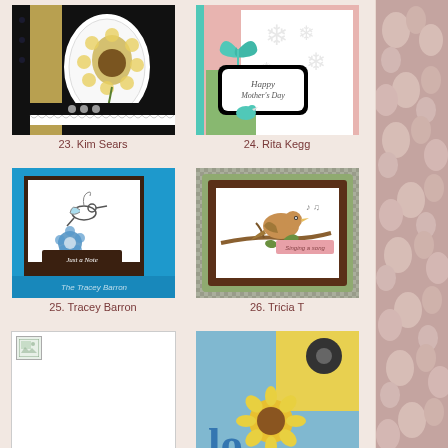[Figure (photo): Card #23 by Kim Sears - handmade card with sunflower on dark polka dot background with gold stripe]
23. Kim Sears
[Figure (photo): Card #24 by Rita Kegg - Happy Mother's Day card with teal ribbon bow and embossed snowflake background]
24. Rita Kegg
[Figure (photo): Card #25 by Tracey Barron - blue card with hummingbird and 'Just a Note' label and flower embellishment]
25. Tracey Barron
[Figure (photo): Card #26 by Tricia T - bird on branch card with green and brown scalloped frame on houndstooth background]
26. Tricia T
[Figure (photo): Card #27 - missing/broken image placeholder]
[Figure (photo): Card #28 - yellow sunflower card on blue background with decorative letters]